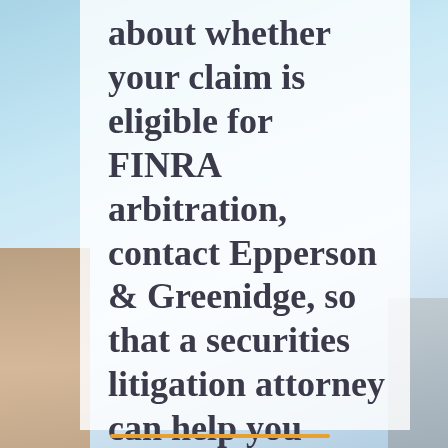[Figure (photo): Background photo of city buildings with light blue sky, with a semi-transparent white panel overlay]
about whether your claim is eligible for FINRA arbitration, contact Epperson & Greenidge, so that a securities litigation attorney can help you explore your legal options.